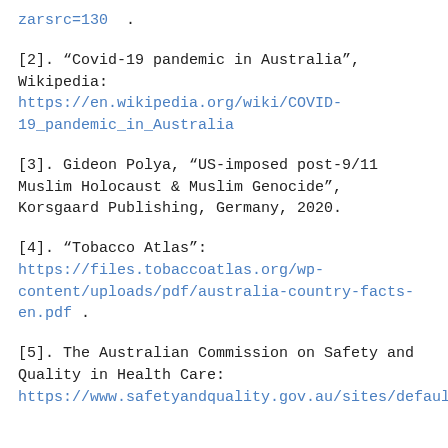zarsrc=130  .
[2]. “Covid-19 pandemic in Australia”, Wikipedia: https://en.wikipedia.org/wiki/COVID-19_pandemic_in_Australia
[3]. Gideon Polya, “US-imposed post-9/11 Muslim Holocaust & Muslim Genocide”, Korsgaard Publishing, Germany, 2020.
[4]. “Tobacco Atlas”: https://files.tobaccoatlas.org/wp-content/uploads/pdf/australia-country-facts-en.pdf .
[5]. The Australian Commission on Safety and Quality in Health Care: https://www.safetyandquality.gov.au/sites/default/file